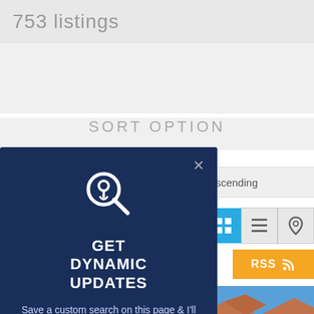753 listings
SORT OPTION
[Figure (screenshot): A popup/modal card on a real estate website with a dark navy background. It shows a search icon with a location pin, and the text 'GET DYNAMIC UPDATES'. Below is descriptive text: 'Save a custom search on this page & I'll email you instantly when a new listing matches the criteria.' There is an X close button. Behind the popup is a sort option dropdown showing 'descending', view toggle icons (grid, list, map), an RSS button in orange, and a partial house photo.]
GET DYNAMIC UPDATES
Save a custom search on this page & I'll email you instantly when a new listing matches the criteria.